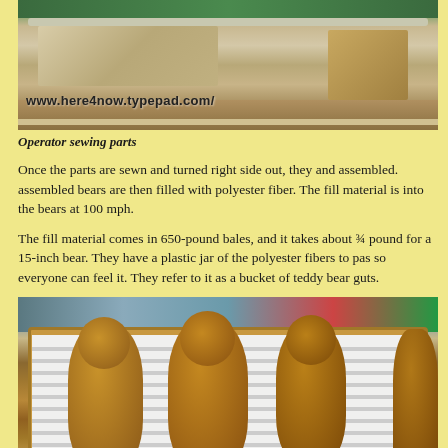[Figure (photo): Photo of operator sewing parts at a sewing machine, with www.here4now.typepad.com/ watermark visible]
Operator sewing parts
Once the parts are sewn and turned right side out, they and assembled. assembled bears are then filled with polyester fiber. The fill material is into the bears at 100 mph.
The fill material comes in 650-pound bales, and it takes about ¾ pound for a 15-inch bear. They have a plastic jar of the polyester fibers to pas so everyone can feel it. They refer to it as a bucket of teddy bear guts.
[Figure (photo): Photo of several brown teddy bears displayed on a white slatted display rack with wooden frame in a store or factory setting]